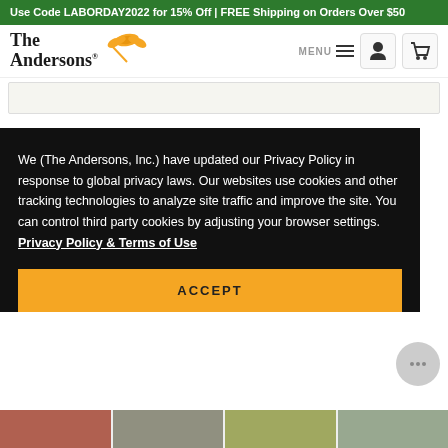Use Code LABORDAY2022 for 15% Off | FREE Shipping on Orders Over $50
[Figure (logo): The Andersons logo with wheat graphic]
5.0 ★★★★★ Based on 119 Reviews
We (The Andersons, Inc.) have updated our Privacy Policy in response to global privacy laws. Our websites use cookies and other tracking technologies to analyze site traffic and improve the site. You can control third party cookies by adjusting your browser settings. Privacy Policy & Terms of Use
ACCEPT